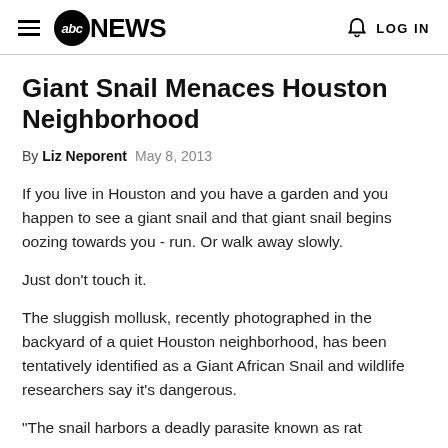abc NEWS   LOG IN
Giant Snail Menaces Houston Neighborhood
By Liz Neporent  May 8, 2013
If you live in Houston and you have a garden and you happen to see a giant snail and that giant snail begins oozing towards you - run. Or walk away slowly.
Just don't touch it.
The sluggish mollusk, recently photographed in the backyard of a quiet Houston neighborhood, has been tentatively identified as a Giant African Snail and wildlife researchers say it's dangerous.
"The snail harbors a deadly parasite known as rat